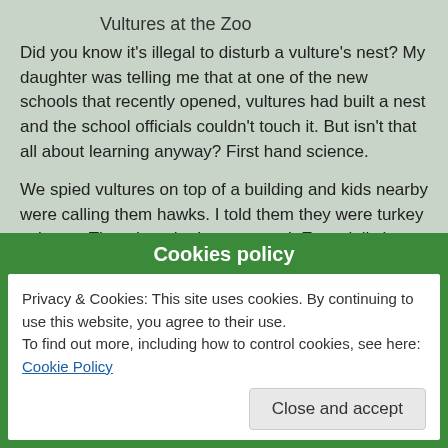Vultures at the Zoo
Did you know it's illegal to disturb a vulture's nest? My daughter was telling me that at one of the new schools that recently opened, vultures had built a nest and the school officials couldn't touch it. But isn't that all about learning anyway? First hand science.
We spied vultures on top of a building and kids nearby were calling them hawks. I told them they were turkey vultures. They thought that was cool. Especially how they cleaned up dead things. lol
Okay, back to the regularly scheduled program. We had 4 1/2" of rain—yay! And that meant I was out trying to weed before the heat gets to me. Fire ants are out also. Hnow! One got me. Filled half of a 40
Cookies policy
Privacy & Cookies: This site uses cookies. By continuing to use this website, you agree to their use.
To find out more, including how to control cookies, see here: Cookie Policy
Close and accept